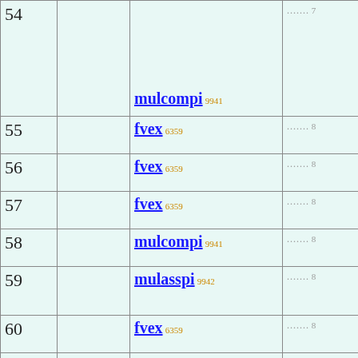| Row# | Refs | Function | Page |
| --- | --- | --- | --- |
| 54 |  | mulcompi 9941 | ....... 7 (continued) |
| 55 |  | fvex 6359 | ....... 8 |
| 56 |  | fvex 6359 | ....... 8 |
| 57 |  | fvex 6359 | ....... 8 |
| 58 |  | mulcompi 9941 | ....... 8 |
| 59 |  | mulasspi 9942 | ....... 8 |
| 60 |  | fvex 6359 | ....... 8 |
| 61 | 55, 56, 57, 58, 59, 60 | caov411 7034 | ....... 7 |
| 62 | 54, 61 | eqtri 2796 | ..... 6 |